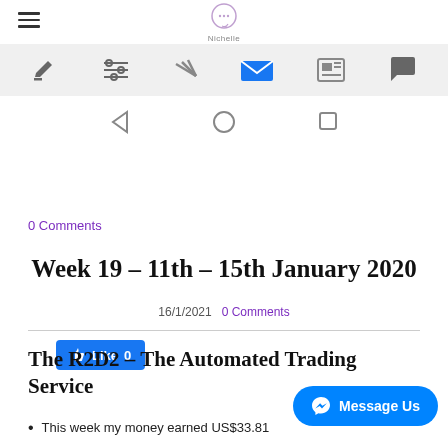Nichelle
[Figure (screenshot): Mobile icon toolbar with edit, settings, filter, mail (active/blue), news, and chat icons on light grey background]
[Figure (screenshot): Android navigation bar with back (triangle), home (circle), and recents (square) buttons]
[Figure (screenshot): Facebook Like button (blue, thumbs up icon, Like 0)]
0 Comments
Week 19 – 11th – 15th January 2020
16/1/2021   0 Comments
The R2D2 – The Automated Trading Service
This week my money earned US$33.81
[Figure (screenshot): Facebook Messenger 'Message Us' floating button (blue rounded rectangle, messenger icon)]